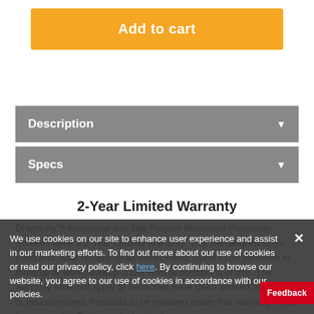Add to cart
Description
Specs
2-Year Limited Warranty
Dragonfly™ Motorized and Tab-Tension Motorized Projection Screens have a 2-Year Limited Warranty. This warranty includes parts and labor repairs on all components found to be defective in material or workmanship under normal conditions of use. The warranty shall not apply to items that have been abused, modified or disassembled. Products to be repaired under this warranty must be returned to Elite or a designated se
We use cookies on our site to enhance user experience and assist in our marketing efforts. To find out more about our use of cookies or read our privacy policy, click here. By continuing to browse our website, you agree to our use of cookies in accordance with our policies.